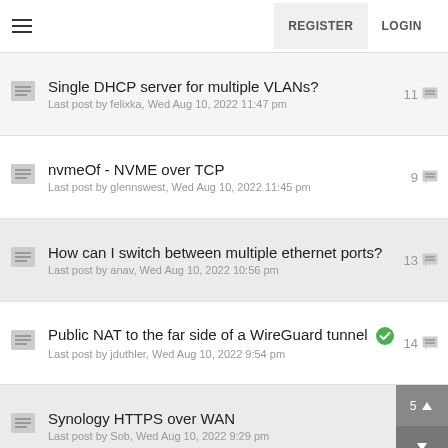REGISTER  LOGIN
Single DHCP server for multiple VLANs?
Last post by felixka, Wed Aug 10, 2022 11:47 pm
11
nvmeOf - NVME over TCP
Last post by glennswest, Wed Aug 10, 2022 11:45 pm
9
How can I switch between multiple ethernet ports?
Last post by anav, Wed Aug 10, 2022 10:56 pm
13
Public NAT to the far side of a WireGuard tunnel
Last post by jduthler, Wed Aug 10, 2022 9:54 pm
14
Synology HTTPS over WAN
Last post by Sob, Wed Aug 10, 2022 9:29 pm
5
Source based routing issue
Last post by Sob, Wed Aug 10, 2022 9:26 pm
7